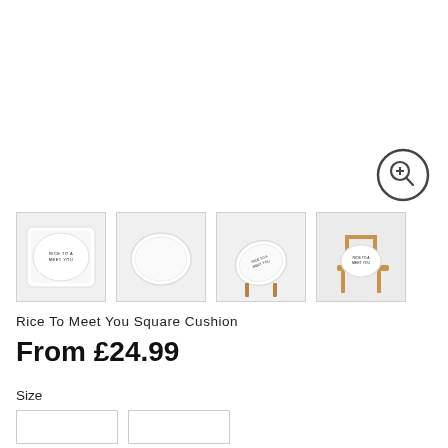[Figure (photo): Zoom/magnify icon - circle with plus and magnifying glass symbol]
[Figure (photo): Four product thumbnail images of a white square cushion with 'Rice To Meet You' text, shown from different angles including flat lay and on a wooden chair]
Rice To Meet You Square Cushion
From £24.99
Size